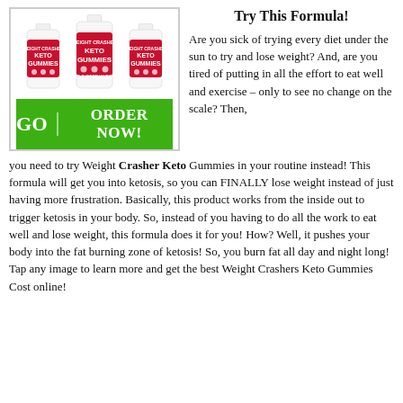[Figure (photo): Three bottles of Weight Crasher Keto Gummies (apple cider vinegar flavor) with red labels, side by side inside a bordered box, with a green 'GO | ORDER NOW!' button below.]
Try This Formula!
Are you sick of trying every diet under the sun to try and lose weight? And, are you tired of putting in all the effort to eat well and exercise – only to see no change on the scale? Then, you need to try Weight Crasher Keto Gummies in your routine instead! This formula will get you into ketosis, so you can FINALLY lose weight instead of just having more frustration. Basically, this product works from the inside out to trigger ketosis in your body. So, instead of you having to do all the work to eat well and lose weight, this formula does it for you! How? Well, it pushes your body into the fat burning zone of ketosis! So, you burn fat all day and night long! Tap any image to learn more and get the best Weight Crashers Keto Gummies Cost online!